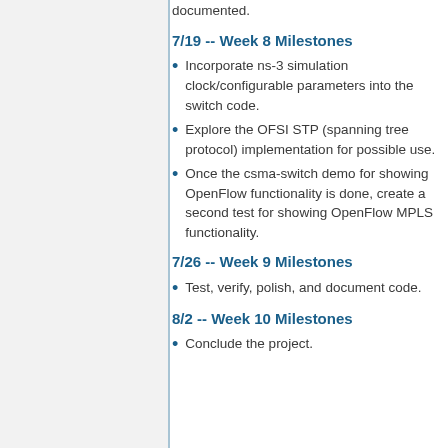documented.
7/19 -- Week 8 Milestones
Incorporate ns-3 simulation clock/configurable parameters into the switch code.
Explore the OFSI STP (spanning tree protocol) implementation for possible use.
Once the csma-switch demo for showing OpenFlow functionality is done, create a second test for showing OpenFlow MPLS functionality.
7/26 -- Week 9 Milestones
Test, verify, polish, and document code.
8/2 -- Week 10 Milestones
Conclude the project.